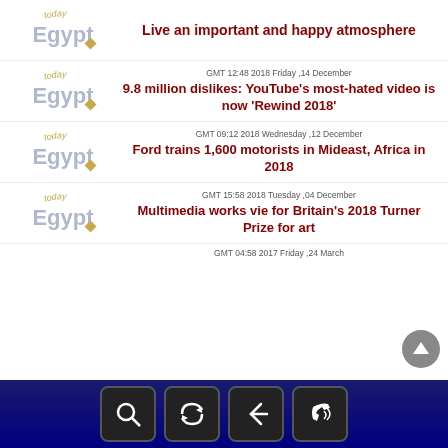[Figure (logo): Egypt Today logo - purple Egypt text with today in gold above, diamond shape]
Live an important and happy atmosphere
[Figure (logo): Egypt Today logo]
GMT 12:48 2018 Friday ,14 December
9.8 million dislikes: YouTube's most-hated video is now 'Rewind 2018'
[Figure (logo): Egypt Today logo]
GMT 09:12 2018 Wednesday ,12 December
Ford trains 1,600 motorists in Mideast, Africa in 2018
[Figure (logo): Egypt Today logo]
GMT 15:58 2018 Tuesday ,04 December
Multimedia works vie for Britain's 2018 Turner Prize for art
GMT 04:58 2017 Friday ,24 March
[Figure (other): Navigation footer bar with search, refresh, back, and phone icons on dark blue background]